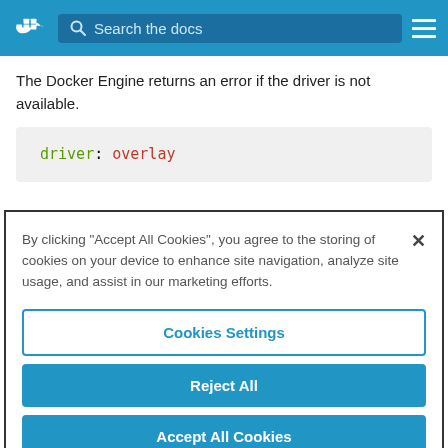[Figure (screenshot): Docker documentation website navigation bar with logo, search box, and hamburger menu]
The Docker Engine returns an error if the driver is not available.
driver: overlay
By clicking “Accept All Cookies”, you agree to the storing of cookies on your device to enhance site navigation, analyze site usage, and assist in our marketing efforts.
Cookies Settings
Reject All
Accept All Cookies